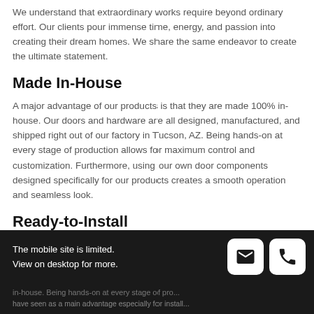We understand that extraordinary works require beyond ordinary effort. Our clients pour immense time, energy, and passion into creating their dream homes. We share the same endeavor to create the ultimate statement.
Made In-House
A major advantage of our products is that they are made 100% in-house. Our doors and hardware are all designed, manufactured, and shipped right out of our factory in Tucson, AZ. Being hands-on at every stage of production allows for maximum control and customization. Furthermore, using our own door components designed specifically for our products creates a smooth operation and seamless look.
Ready-to-Install
The mobile site is limited. View on desktop for more.